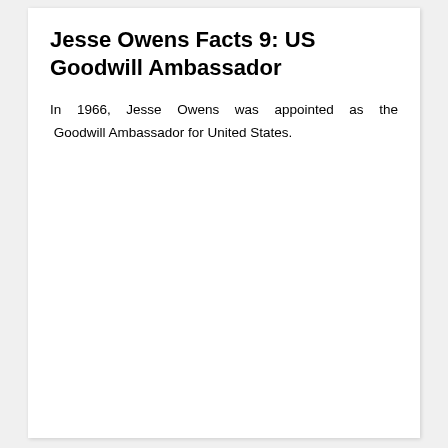Jesse Owens Facts 9: US Goodwill Ambassador
In 1966, Jesse Owens was appointed as the Goodwill Ambassador for United States.